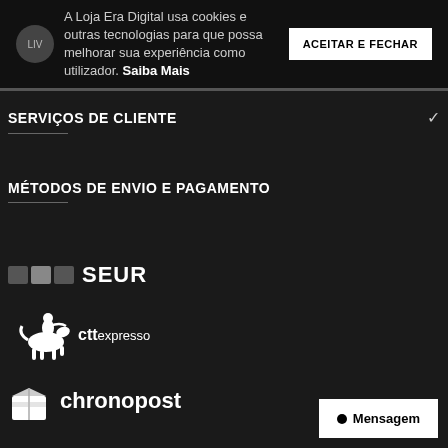A Loja Era Digital usa cookies e outras tecnologias para que possa melhorar sua experiência como utilizador. Saiba Mais
ACEITAR E FECHAR
SERVIÇOS DE CLIENTE
MÉTODOS DE ENVIO E PAGAMENTO
[Figure (logo): SEUR logo with colored blocks and bold SEUR text]
[Figure (logo): CTT Expresso logo with courier on horseback illustration and cttexpresso text]
[Figure (logo): Chronopost logo with package icon and chronopost text]
Mensagem